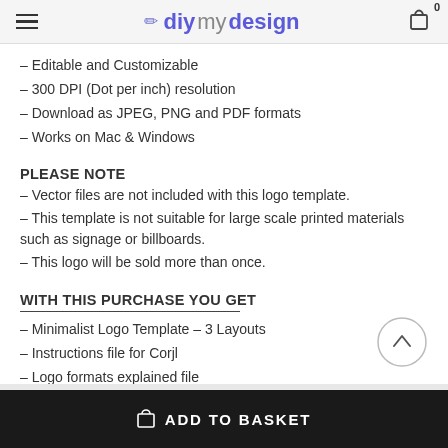diymydesign
– Editable and Customizable
– 300 DPI (Dot per inch) resolution
– Download as JPEG, PNG and PDF formats
– Works on Mac & Windows
PLEASE NOTE
– Vector files are not included with this logo template.
– This template is not suitable for large scale printed materials such as signage or billboards.
– This logo will be sold more than once.
WITH THIS PURCHASE YOU GET
– Minimalist Logo Template – 3 Layouts
– Instructions file for Corjl
– Logo formats explained file
ADD TO BASKET